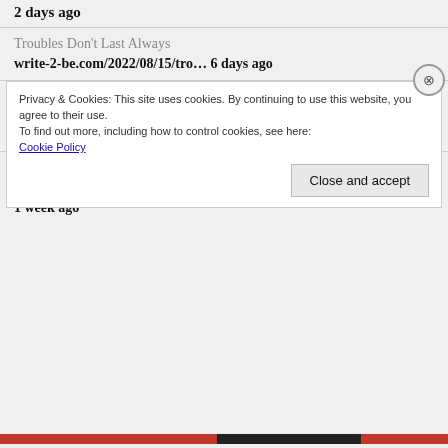2 days ago
Troubles Don't Last Always
write-2-be.com/2022/08/15/tro… 6 days ago
Author Interview with Betty Collier
write2bemagazine.com/2022/08/12/aut…
1 week ago
Author Interview with Bobi Conn
write2bemagazine.com/2022/08/09/aut…
1 week ago
Privacy & Cookies: This site uses cookies. By continuing to use this website, you agree to their use.
To find out more, including how to control cookies, see here:
Cookie Policy
Close and accept